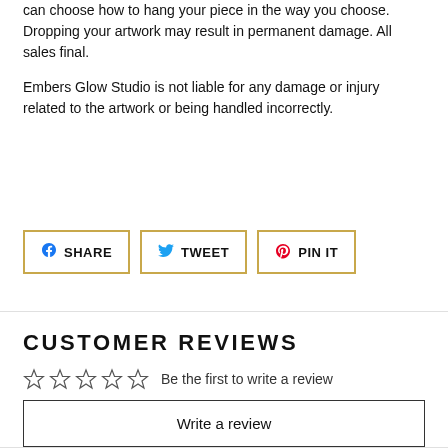can choose how to hang your piece in the way you choose. Dropping your artwork may result in permanent damage. All sales final.
Embers Glow Studio is not liable for any damage or injury related to the artwork or being handled incorrectly.
[Figure (other): Three social sharing buttons: SHARE (Facebook), TWEET (Twitter), PIN IT (Pinterest)]
CUSTOMER REVIEWS
Be the first to write a review
Write a review